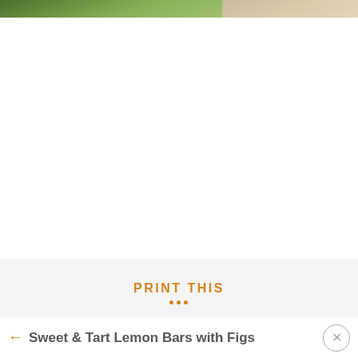[Figure (photo): Top strip of a food photo showing green leafy vegetables and a light-colored food item on the right]
PRINT THIS
Previous article
Sweet & Tart Lemon Bars with Figs